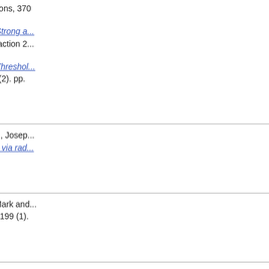Mechanics and its Applications, 370
Melgaard, Michael (2006) Strong a... Conference ``Days on Diffraction 2...
Melgaard, Michael (2006) Threshol... Differential Equations, 226 (2). pp.
N
Narcowich, Francis J, Ward, Josep... scattered data interpolation via rad...
P
Proctor, Carole J, Broom, Mark and... Mathematical Biosciences, 199 (1).
R
Robinson, Derek (2006) The statist... Journal of the Royal Statistical Soc...